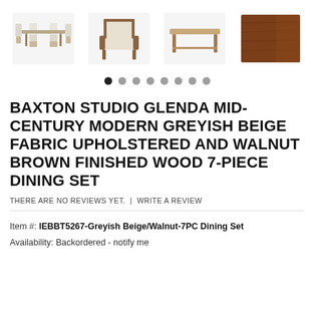[Figure (photo): Four product thumbnail images in a horizontal row: (1) full 7-piece dining set with table and 6 chairs, (2) single upholstered arm chair in greyish beige and walnut wood, (3) rectangular dining table alone, (4) close-up of walnut brown wood finish.]
[Figure (other): Carousel dot navigation with 8 dots; first dot is filled black (active), remaining 7 are grey.]
BAXTON STUDIO GLENDA MID-CENTURY MODERN GREYISH BEIGE FABRIC UPHOLSTERED AND WALNUT BROWN FINISHED WOOD 7-PIECE DINING SET
THERE ARE NO REVIEWS YET.  |  WRITE A REVIEW
Item #: IEBBT5267-Greyish Beige/Walnut-7PC Dining Set
Availability: Backordered - notify me